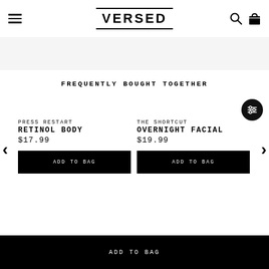VERSED
[Figure (screenshot): Light grey banner/hero area below navigation header]
FREQUENTLY BOUGHT TOGETHER
PRESS RESTART RETINOL BODY $17.99
THE SHORTCUT OVERNIGHT FACIAL $19.99
ADD TO BAG (left product)
ADD TO BAG (right product)
ADD TO BAG